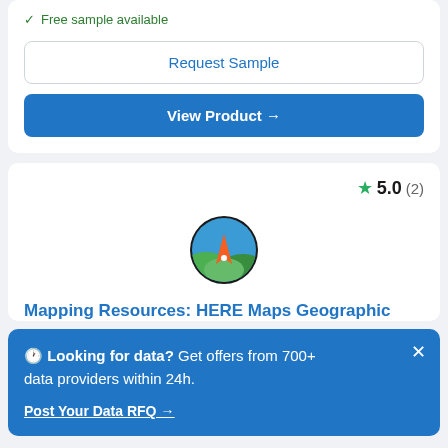✓ Free sample available
Request Sample
View Product →
5.0 (2)
[Figure (logo): Compass/navigation logo with orange arrow, green hills, and blue circle]
Mapping Resources: HERE Maps Geographic
🕐 Looking for data? Get offers from 700+ data providers within 24h.
Post Your Data RFQ →